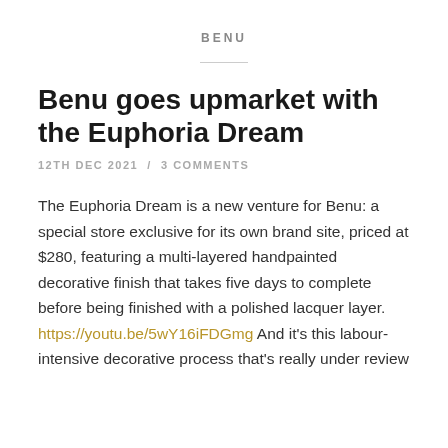BENU
Benu goes upmarket with the Euphoria Dream
12TH DEC 2021  /  3 COMMENTS
The Euphoria Dream is a new venture for Benu: a special store exclusive for its own brand site, priced at $280, featuring a multi-layered handpainted decorative finish that takes five days to complete before being finished with a polished lacquer layer. https://youtu.be/5wY16iFDGmg And it's this labour-intensive decorative process that's really under review